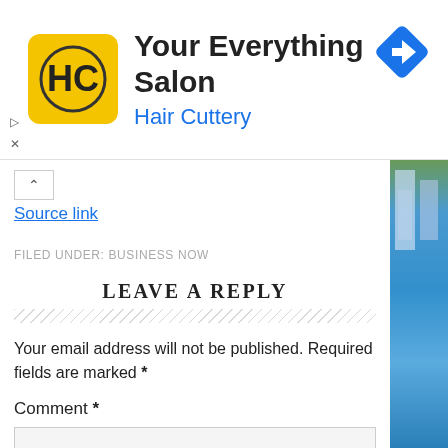[Figure (logo): Hair Cuttery ad banner with yellow HC logo, 'Your Everything Salon' title, 'Hair Cuttery' subtitle in blue, and a blue diamond navigation arrow icon on the right]
Source link
FILED UNDER: BUSINESS NOW
LEAVE A REPLY
Your email address will not be published. Required fields are marked *
Comment *